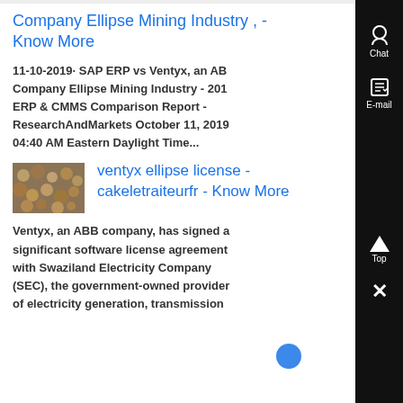Company Ellipse Mining Industry , - Know More
11-10-2019· SAP ERP vs Ventyx, an AB Company Ellipse Mining Industry - 201 ERP & CMMS Comparison Report - ResearchAndMarkets October 11, 2019 04:40 AM Eastern Daylight Time...
[Figure (photo): Thumbnail image showing dark seeds or grain close-up]
ventyx ellipse license - cakeletraiteurfr - Know More
Ventyx, an ABB company, has signed a significant software license agreement with Swaziland Electricity Company (SEC), the government-owned provider of electricity generation, transmission